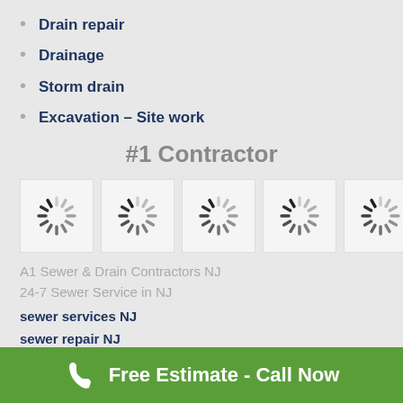Drain repair
Drainage
Storm drain
Excavation – Site work
#1 Contractor
[Figure (other): Five loading spinner icons displayed in a row inside a white bordered box]
A1 Sewer & Drain Contractors NJ
24-7 Sewer Service in NJ
sewer services NJ
sewer repair NJ
sewer replacement NJ
Free Estimate - Call Now